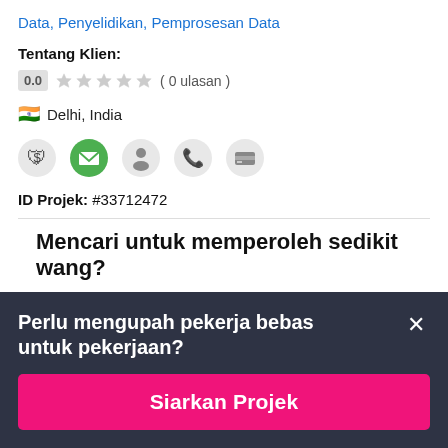Data, Penyelidikan, Pemprosesan Data
Tentang Klien:
0.0  ( 0 ulasan )
🇮🇳 Delhi, India
[Figure (other): Row of 5 icons: shield with dollar, green envelope, person silhouette, phone, credit card]
ID Projek: #33712472
Mencari untuk memperoleh sedikit wang?
Perlu mengupah pekerja bebas untuk pekerjaan?
Siarkan Projek